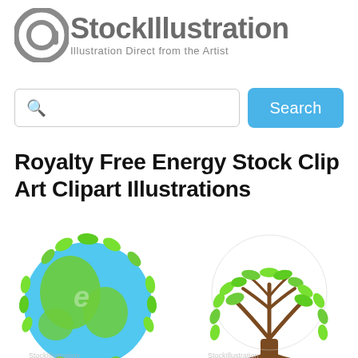[Figure (logo): @StockIllustration logo with stylized @ symbol and text 'StockIllustration / Illustration Direct from the Artist']
[Figure (screenshot): Search bar with magnifying glass icon and blue Search button]
Royalty Free Energy Stock Clip Art Clipart Illustrations
[Figure (illustration): Green earth globe covered in leaves with letter e, blue oceans, green continents with leaf decorations. StockIllustration watermark.]
[Figure (illustration): Tree-shaped globe with brown trunk and branches forming a world map, covered in green leaves. StockIllustration watermark.]